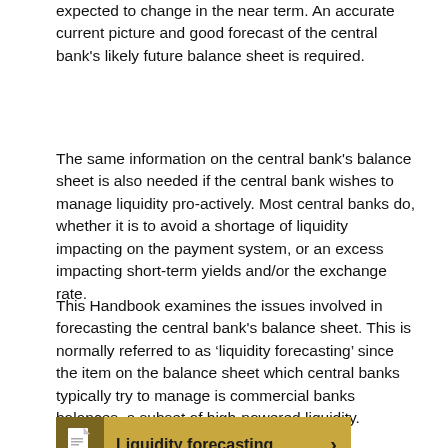expected to change in the near term. An accurate current picture and good forecast of the central bank's likely future balance sheet is required.
The same information on the central bank's balance sheet is also needed if the central bank wishes to manage liquidity pro-actively. Most central banks do, whether it is to avoid a shortage of liquidity impacting on the payment system, or an excess impacting short-term yields and/or the exchange rate.
This Handbook examines the issues involved in forecasting the central bank's balance sheet. This is normally referred to as ‘liquidity forecasting’ since the item on the balance sheet which central banks typically try to manage is commercial banks balances, a subset of high-powered liquidity.
[Figure (infographic): A gold/tan banner with a dark brown left panel containing a PDF document icon, followed by the text 'Liquidity forecasting' and a right-pointing chevron arrow.]